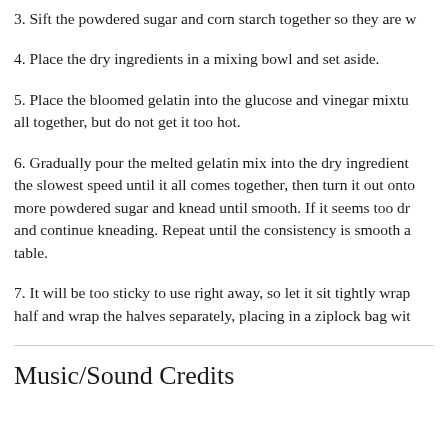3. Sift the powdered sugar and corn starch together so they are w
4. Place the dry ingredients in a mixing bowl and set aside.
5. Place the bloomed gelatin into the glucose and vinegar mixtu all together, but do not get it too hot.
6. Gradually pour the melted gelatin mix into the dry ingredient the slowest speed until it all comes together, then turn it out onto more powdered sugar and knead until smooth. If it seems too dr and continue kneading. Repeat until the consistency is smooth a table.
7. It will be too sticky to use right away, so let it sit tightly wrap half and wrap the halves separately, placing in a ziplock bag wit
Music/Sound Credits